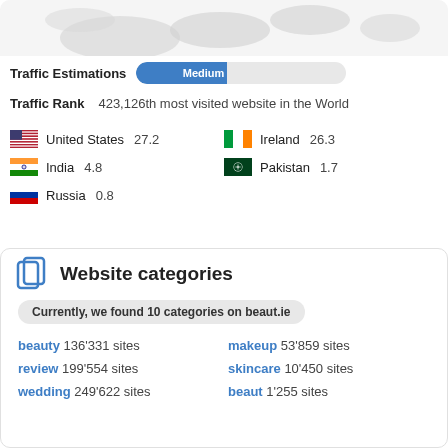[Figure (map): Partial world map illustration in light gray at the top of the page]
Traffic Estimations   Medium
Traffic Rank   423,126th most visited website in the World
| Country | Value | Country | Value |
| --- | --- | --- | --- |
| United States | 27.2 | Ireland | 26.3 |
| India | 4.8 | Pakistan | 1.7 |
| Russia | 0.8 |  |  |
Website categories
Currently, we found 10 categories on beaut.ie
beauty 136'331 sites   makeup 53'859 sites
review 199'554 sites   skincare 10'450 sites
wedding 249'622 sites   beaut 1'255 sites